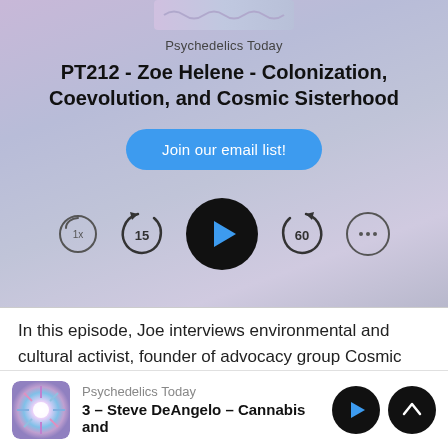[Figure (screenshot): Podcast player UI for Psychedelics Today episode PT212 with Zoe Helene, showing artwork, episode title, email signup button, and playback controls]
Psychedelics Today
PT212 - Zoe Helene - Colonization, Coevolution, and Cosmic Sisterhood
In this episode, Joe interviews environmental and cultural activist, founder of advocacy group Cosmic Sister, and originator of psychedelic feminism, Zoe Helene.
[Figure (screenshot): Next episode mini player showing Psychedelics Today - Steve DeAngelo - Cannabis and... with thumbnail, play and skip-up controls]